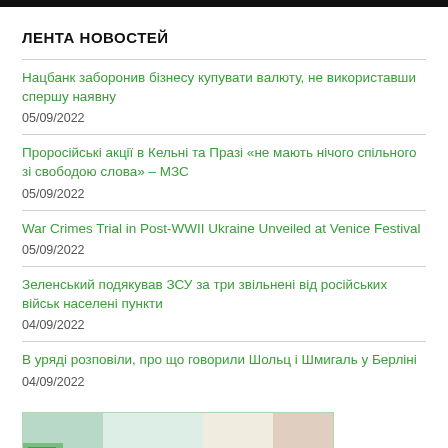ЛЕНТА НОВОСТЕЙ
Нацбанк заборонив бізнесу купувати валюту, не використавши спершу наявну
05/09/2022
Проросійські акції в Кельні та Празі «не мають нічого спільного зі свободою слова» – МЗС
05/09/2022
War Crimes Trial in Post-WWII Ukraine Unveiled at Venice Festival
05/09/2022
Зеленський подякував ЗСУ за три звільнені від російських військ населені пункти
04/09/2022
В уряді розповіли, про що говорили Шольц і Шмигаль у Берліні
04/09/2022
[Figure (photo): Partial image preview at bottom of page, showing a blurred outdoor/architectural scene]